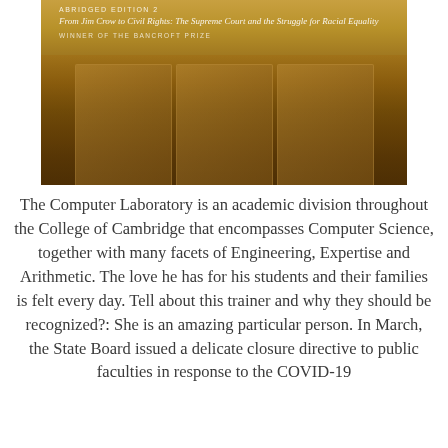[Figure (photo): Book cover with sepia-toned historical photograph showing figures, with text 'ABRIDGED EDITION 2', subtitle 'From Jim Crow to Civil Rights: The Supreme Court and the Struggle for Racial Equality', and 'WINNER OF THE BANCROFT PRIZE']
The Computer Laboratory is an academic division throughout the College of Cambridge that encompasses Computer Science, together with many facets of Engineering, Expertise and Arithmetic. The love he has for his students and their families is felt every day. Tell about this trainer and why they should be recognized?: She is an amazing particular person. In March, the State Board issued a delicate closure directive to public faculties in response to the COVID-19